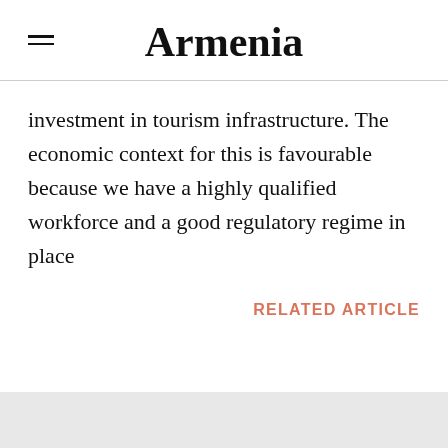Armenia
investment in tourism infrastructure. The economic context for this is favourable because we have a highly qualified workforce and a good regulatory regime in place
RELATED ARTICLE